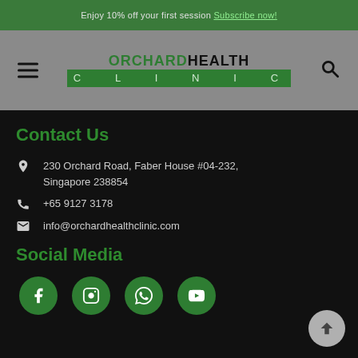Enjoy 10% off your first session Subscribe now!
[Figure (logo): Orchard Health Clinic logo with hamburger menu and search icon on grey navigation bar]
Contact Us
230 Orchard Road, Faber House #04-232, Singapore 238854
+65 9127 3178
info@orchardhealthclinic.com
Social Media
[Figure (infographic): Four green circular social media icons: Facebook, Instagram, WhatsApp, YouTube]